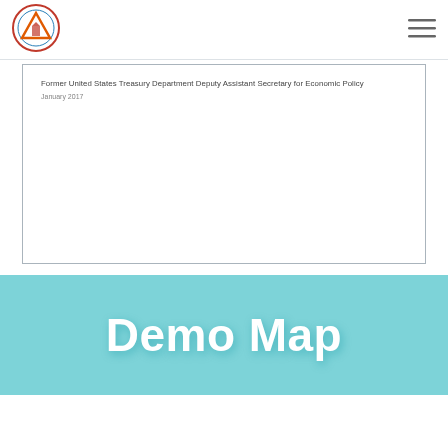[Figure (logo): Circular seal/logo with a triangle and building motif, orange/red and blue outline]
[Figure (other): Hamburger menu icon (three horizontal lines) in top right corner]
Former United States Treasury Department Deputy Assistant Secretary for Economic Policy
January 2017
Demo Map